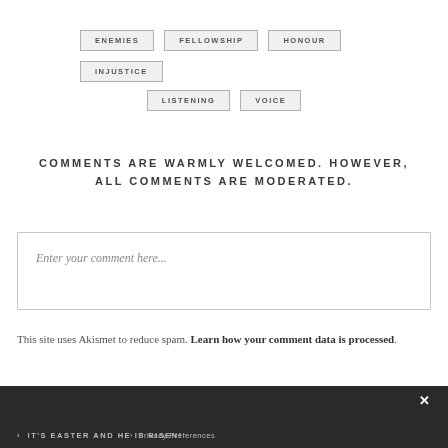ENEMIES
FELLOWSHIP
HONOUR
INJUSTICE
LISTENING
VOICE
COMMENTS ARE WARMLY WELCOMED. HOWEVER, ALL COMMENTS ARE MODERATED.
Enter your comment here...
This site uses Akismet to reduce spam. Learn how your comment data is processed.
IT'S EASTER AND HE IS RISEN! | Privacy Preferences